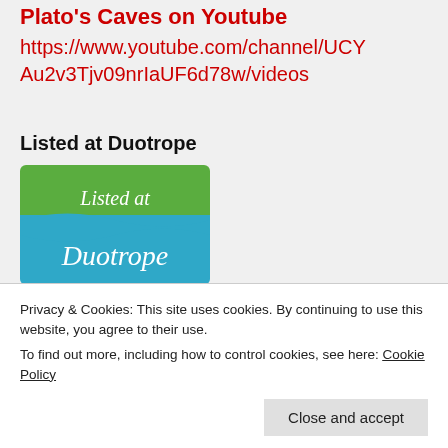Plato's Caves on Youtube
https://www.youtube.com/channel/UCYAu2v3Tjv09nrIaUF6d78w/videos
Listed at Duotrope
[Figure (logo): Duotrope 'Listed at Duotrope' badge with green top section and blue bottom section]
Privacy & Cookies: This site uses cookies. By continuing to use this website, you agree to their use.
To find out more, including how to control cookies, see here: Cookie Policy
Close and accept